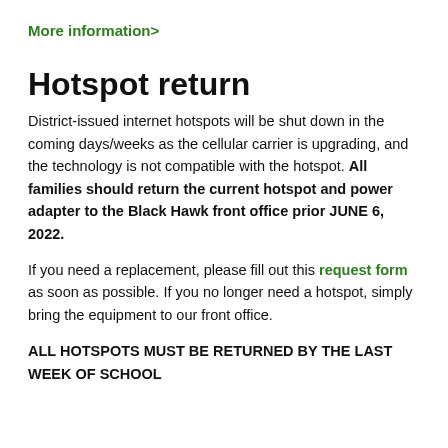More information>
Hotspot return
District-issued internet hotspots will be shut down in the coming days/weeks as the cellular carrier is upgrading, and the technology is not compatible with the hotspot. All families should return the current hotspot and power adapter to the Black Hawk front office prior JUNE 6, 2022.
If you need a replacement, please fill out this request form as soon as possible. If you no longer need a hotspot, simply bring the equipment to our front office.
ALL HOTSPOTS MUST BE RETURNED BY THE LAST WEEK OF SCHOOL